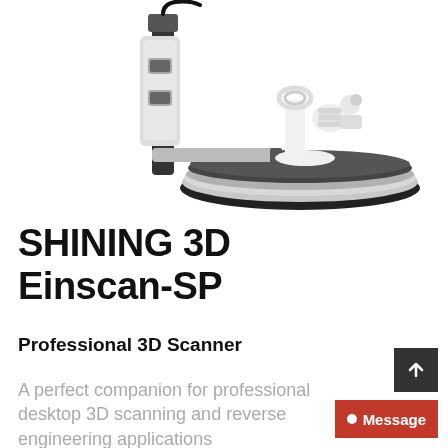[Figure (photo): SHINING 3D Einscan-SP 3D scanner device shown from the side — silver and black structured-light desktop scanner with a rotating turntable platform and a scanned white 3D-printed mechanical part on the turntable.]
SHINING 3D Einscan-SP
Professional 3D Scanner
A perfect companion for professional desktop 3D scanning and reverse engineering applications